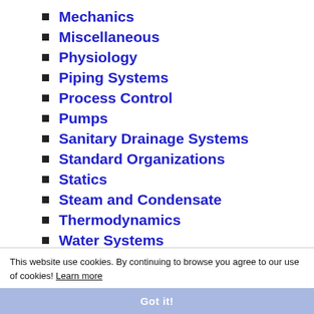Mechanics
Miscellaneous
Physiology
Piping Systems
Process Control
Pumps
Sanitary Drainage Systems
Standard Organizations
Statics
Steam and Condensate
Thermodynamics
Water Systems
This website use cookies. By continuing to browse you agree to our use of cookies! Learn more
Got it!